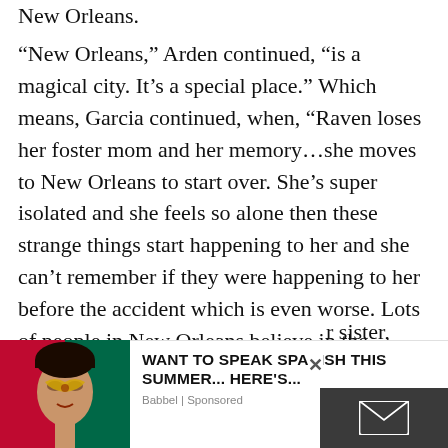New Orleans.
“New Orleans,” Arden continued, “is a magical city. It’s a special place.” Which means, Garcia continued, when, “Raven loses her foster mom and her memory…she moves to New Orleans to start over. She’s super isolated and she feels so alone then these strange things start happening to her and she can’t remember if they were happening to her before the accident which is even worse. Lots of people in New Orleans believe in the supernatural and I wanted to set the story in a place where she could find herself and feel accepted. To the people in
r sister, some of
[Figure (photo): Advertisement image showing a person with face paint in Mexican flag colors (red and green), representing a language learning app ad.]
WANT TO SPEAK SPANISH THIS SUMMER... HERE’S... Babbel | Sponsored